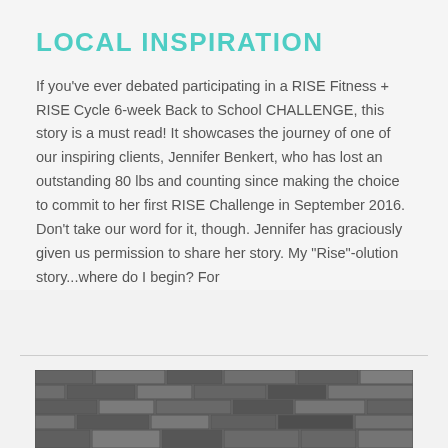LOCAL INSPIRATION
If you've ever debated participating in a RISE Fitness + RISE Cycle 6-week Back to School CHALLENGE, this story is a must read! It showcases the journey of one of our inspiring clients, Jennifer Benkert, who has lost an outstanding 80 lbs and counting since making the choice to commit to her first RISE Challenge in September 2016. Don't take our word for it, though. Jennifer has graciously given us permission to share her story. My "Rise"-olution story...where do I begin? For
[Figure (photo): Black and white photo of a brick wall]